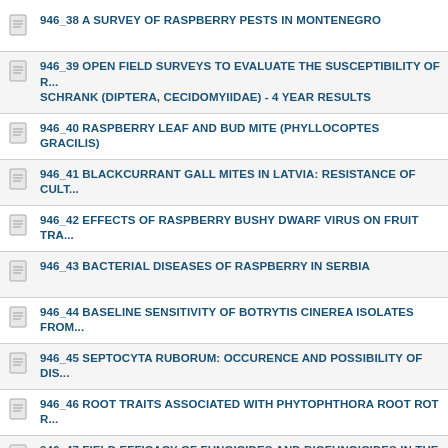946_38 A SURVEY OF RASPBERRY PESTS IN MONTENEGRO
946_39 OPEN FIELD SURVEYS TO EVALUATE THE SUSCEPTIBILITY OF R... SCHRANK (DIPTERA, CECIDOMYIIDAE) - 4 YEAR RESULTS
946_40 RASPBERRY LEAF AND BUD MITE (PHYLLOCOPTES GRACILIS)
946_41 BLACKCURRANT GALL MITES IN LATVIA: RESISTANCE OF CULT...
946_42 EFFECTS OF RASPBERRY BUSHY DWARF VIRUS ON FRUIT TRA...
946_43 BACTERIAL DISEASES OF RASPBERRY IN SERBIA
946_44 BASELINE SENSITIVITY OF BOTRYTIS CINEREA ISOLATES FROM...
946_45 SEPTOCYTA RUBORUM: OCCURENCE AND POSSIBILITY OF DIS...
946_46 ROOT TRAITS ASSOCIATED WITH PHYTOPHTHORA ROOT ROT R...
946_47 FIELD EFFICACY OF FUNGICIDES AND BIOFUNGICIDES IN THE C...
946_48 BIOLOGICAL SPECTRUM OF WEED FLORA AND VEGETATION OF...